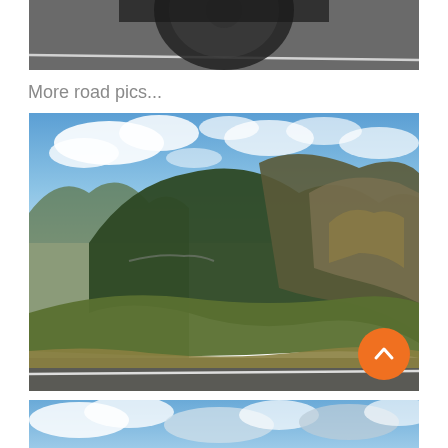[Figure (photo): Partial view of a motorcycle wheel on a road, cropped at top]
More road pics...
[Figure (photo): Scenic mountain road photograph showing steep green mountain ridges with a winding road carved into the hillside, blue sky with clouds above, and a road in the foreground with a white stripe. An orange scroll-to-top button overlays the lower right of the image.]
[Figure (photo): Partial view of a cloudy blue sky, cropped at bottom of page]